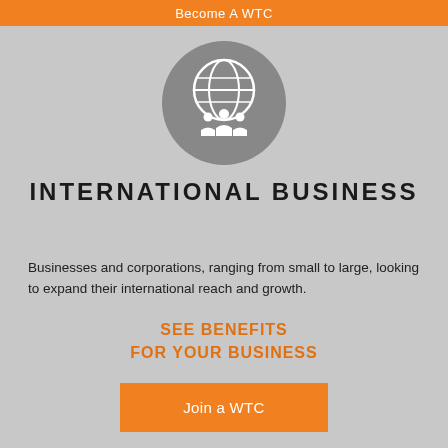Become A WTC
[Figure (illustration): Gray circle icon with a globe and three silhouetted people (businesspersons) underneath, white icon on gray circular background]
INTERNATIONAL BUSINESS
Businesses and corporations, ranging from small to large, looking to expand their international reach and growth.
SEE BENEFITS
FOR YOUR BUSINESS
Join a WTC